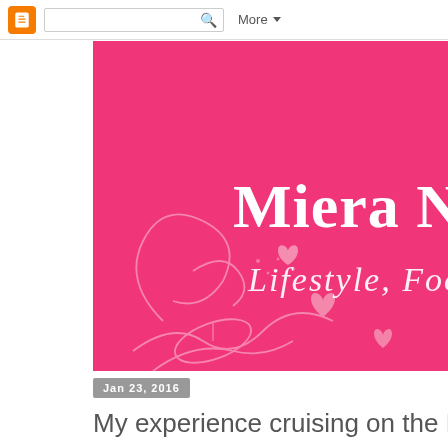Blogger navbar with search and More button
[Figure (screenshot): Pink blog banner for 'Miera Nadh' with subtitle 'Lifestyle, Food, Trave...' and decorative floral/heart line art on hot pink background]
Jan 23, 2016
My experience cruising on the Black Pea...